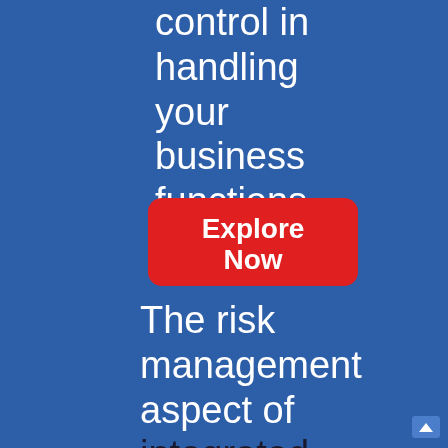control in handling your business functions.
[Figure (other): Red rounded rectangle button with white bold text reading 'Explore Now']
The risk management aspect of integrated logistics helps